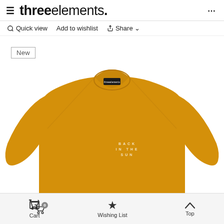≡ threeelements. ...
🔍 Quick view   Add to wishlist   < Share ∨
[Figure (photo): Yellow/mustard colored crewneck sweatshirt displayed on white background. The sweatshirt has raglan sleeves and a small black label at the collar. On the chest area there is white text reading 'BACK IN THE SUN'. A 'New' badge is shown in the top-left corner of the product image.]
Cart   Wishing List   Top